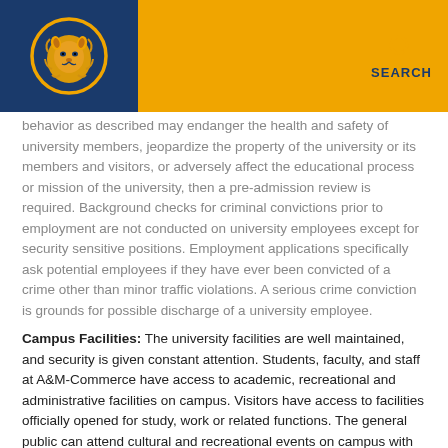[Figure (logo): Texas A&M Commerce university logo: lion head in gold circle on dark blue background, with gold banner header and search icon]
behavior as described may endanger the health and safety of university members, jeopardize the property of the university or its members and visitors, or adversely affect the educational process or mission of the university, then a pre-admission review is required. Background checks for criminal convictions prior to employment are not conducted on university employees except for security sensitive positions. Employment applications specifically ask potential employees if they have ever been convicted of a crime other than minor traffic violations. A serious crime conviction is grounds for possible discharge of a university employee.
Campus Facilities: The university facilities are well maintained, and security is given constant attention. Students, faculty, and staff at A&M-Commerce have access to academic, recreational and administrative facilities on campus. Visitors have access to facilities officially opened for study, work or related functions. The general public can attend cultural and recreational events on campus with access limited to the facilities in which these events are held. The Physical Plant Department maintains the university buildings and grounds while keeping safety and security in mind. The landscape